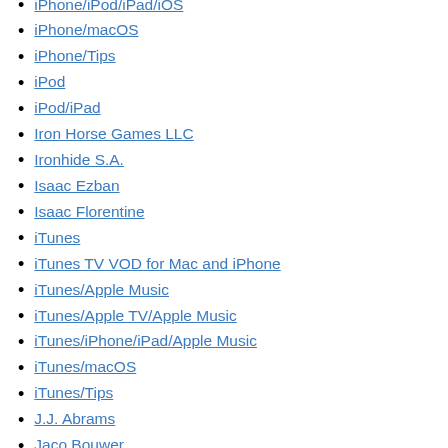iPhone/iPod/iPad/iOS
iPhone/macOS
iPhone/Tips
iPod
iPod/iPad
Iron Horse Games LLC
Ironhide S.A.
Isaac Ezban
Isaac Florentine
iTunes
iTunes TV VOD for Mac and iPhone
iTunes/Apple Music
iTunes/Apple TV/Apple Music
iTunes/iPhone/iPad/Apple Music
iTunes/macOS
iTunes/Tips
J.J. Abrams
Jaco Bouwer
Jacquielawson.com